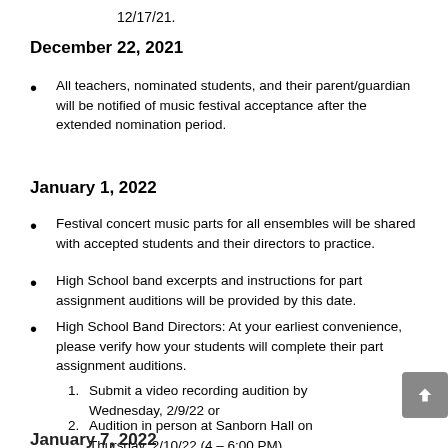12/17/21.
December 22, 2021
All teachers, nominated students, and their parent/guardian will be notified of music festival acceptance after the extended nomination period.
January 1, 2022
Festival concert music parts for all ensembles will be shared with accepted students and their directors to practice.
High School band excerpts and instructions for part assignment auditions will be provided by this date.
High School Band Directors: At your earliest convenience, please verify how your students will complete their part assignment auditions.
Submit a video recording audition by Wednesday, 2/9/22 or
Audition in person at Sanborn Hall on Thursday, 2/10/22 (4 – 6:00 PM).
January 7, 2022